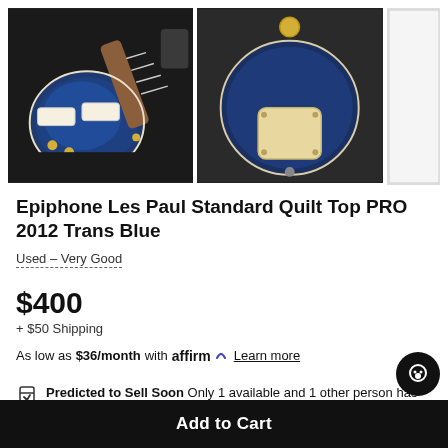[Figure (photo): Three product images of a blue Epiphone Les Paul electric guitar. Left image shows front/top view of the guitar body and neck. Center image shows the back of the guitar body. Right image is partially visible.]
Epiphone Les Paul Standard Quilt Top PRO 2012 Trans Blue
Used – Very Good
$400
+ $50 Shipping
As low as $36/month with affirm Learn more
Predicted to Sell Soon Only 1 available and 1 other person has this in their cart
Add to Cart